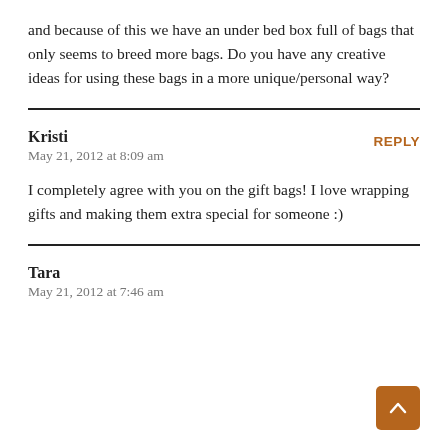and because of this we have an under bed box full of bags that only seems to breed more bags. Do you have any creative ideas for using these bags in a more unique/personal way?
Kristi
May 21, 2012 at 8:09 am
REPLY
I completely agree with you on the gift bags! I love wrapping gifts and making them extra special for someone :)
Tara
May 21, 2012 at 7:46 am